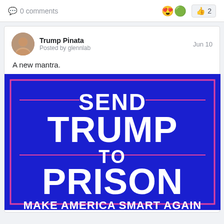0 comments
👅🟢 👍 2
Trump Pinata
Posted by glennlab
Jun 10
A new mantra.
[Figure (photo): A blue political sign-style image with pink border reading SEND TRUMP TO PRISON / MAKE AMERICA SMART AGAIN]